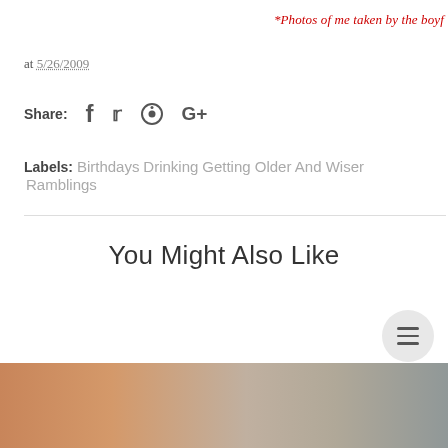*Photos of me taken by the boyf
at 5/26/2009
Share:
Labels: Birthdays  Drinking  Getting Older And Wiser  Ramblings
You Might Also Like
[Figure (photo): Partial view of a person wearing a tan/caramel leather jacket, street photography style]